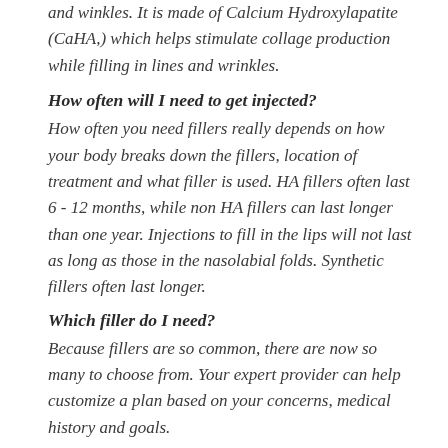and winkles. It is made of Calcium Hydroxylapatite (CaHA,) which helps stimulate collage production while filling in lines and wrinkles.
How often will I need to get injected?
How often you need fillers really depends on how your body breaks down the fillers, location of treatment and what filler is used. HA fillers often last 6 - 12 months, while non HA fillers can last longer than one year. Injections to fill in the lips will not last as long as those in the nasolabial folds. Synthetic fillers often last longer.
Which filler do I need?
Because fillers are so common, there are now so many to choose from. Your expert provider can help customize a plan based on your concerns, medical history and goals.